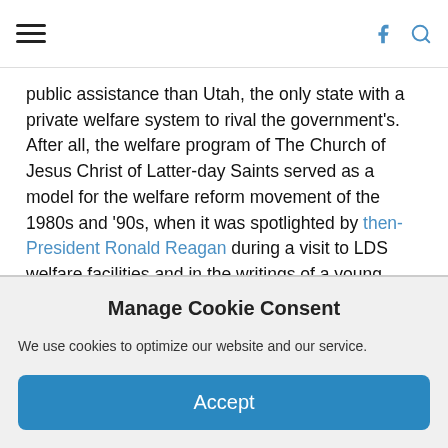Navigation header with hamburger menu and icons
public assistance than Utah, the only state with a private welfare system to rival the government's. After all, the welfare program of The Church of Jesus Christ of Latter-day Saints served as a model for the welfare reform movement of the 1980s and '90s, when it was spotlighted by then-President Ronald Reagan during a visit to LDS welfare facilities and in the writings of a young conservative named Tucker Carlson.
The first thing Utah did under the 1996
Manage Cookie Consent
We use cookies to optimize our website and our service.
Accept